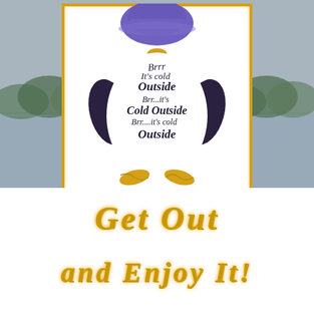[Figure (illustration): Embroidered penguin wearing a purple hat, with body text forming the phrase 'Brrr It's cold Outside Brr...it's Cold Outside Brr...it's cold Outside' in cursive script. Penguin has gold beak and gold feet, dark wings, on a white background with gold border frame.]
Get Out and Enjoy It!